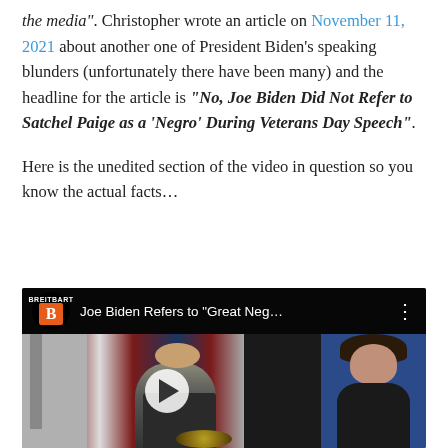the media". Christopher wrote an article on November 11, 2021 about another one of President Biden's speaking blunders (unfortunately there have been many) and the headline for the article is "No, Joe Biden Did Not Refer to Satchel Paige as a 'Negro' During Veterans Day Speech".
Here is the unedited section of the video in question so you know the actual facts…
[Figure (screenshot): Embedded video player showing Joe Biden at a podium with a Breitbart logo thumbnail. Title reads: Joe Biden Refers to "Great Neg...]